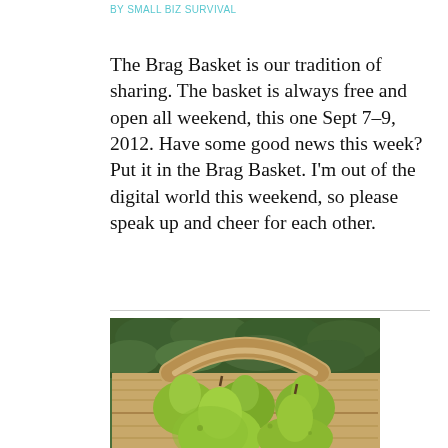BY SMALL BIZ SURVIVAL
The Brag Basket is our tradition of sharing. The basket is always free and open all weekend, this one Sept 7–9, 2012. Have some good news this week? Put it in the Brag Basket. I'm out of the digital world this weekend, so please speak up and cheer for each other.
[Figure (photo): A wooden basket filled with green pears, with a curved handle, photographed outdoors against green foliage.]